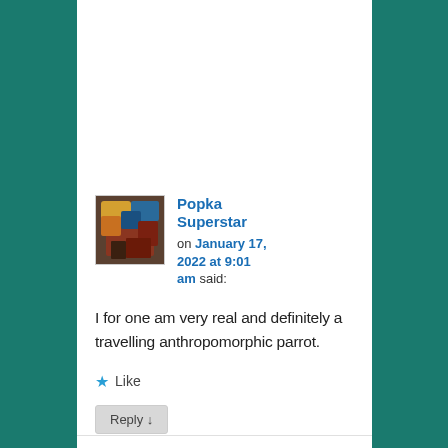[Figure (screenshot): Partial view of a blog comment with Like button and Reply button on grey background]
Popka Superstar on January 17, 2022 at 9:01 am said: I for one am very real and definitely a travelling anthropomorphic parrot.
[Figure (photo): Avatar image of Popka Superstar showing a colorful illustrated parrot character]